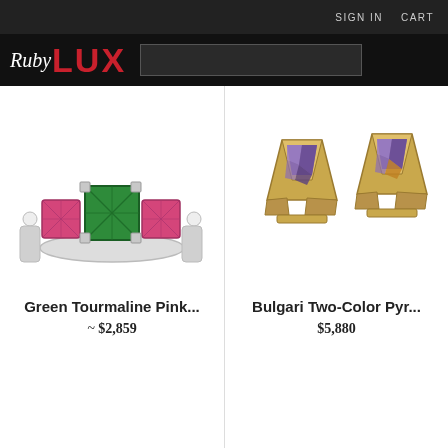SIGN IN   CART
Ruby LUX
[Figure (photo): Green Tourmaline and Pink gemstone ring with white gold band]
Green Tourmaline Pink...
~ $2,859
[Figure (photo): Bulgari Two-Color Pyramid earrings with purple/amethyst stones in gold setting]
Bulgari Two-Color Pyr...
$5,880